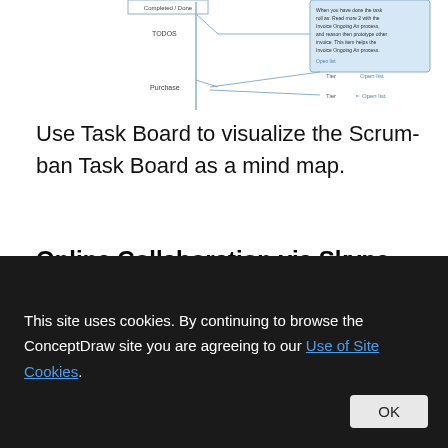[Figure (flowchart): Partial view of a Scrum-ban Task Board mind map diagram showing branches with labels like 'Completed / Done', 'TODOS', 'Purchase' with connecting lines and a blue info box on the right side.]
Use Task Board to visualize the Scrum-ban Task Board as a mind map.
Online Collaboration via Skype
[Figure (flowchart): Partial view of an Online Collaboration via Skype mind map diagram showing multiple branches including items like 'Business Process Plan', 'BUSINESS PLAN', 'Decision Process' with connecting lines and sub-branches on the right.]
This site uses cookies. By continuing to browse the ConceptDraw site you are agreeing to our Use of Site Cookies.